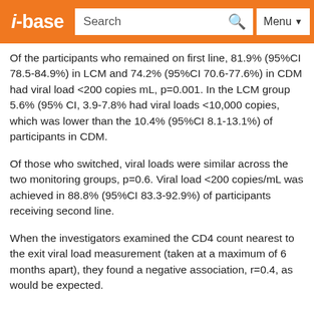i-base | Search | Menu
Of the participants who remained on first line, 81.9% (95%CI 78.5-84.9%) in LCM and 74.2% (95%CI 70.6-77.6%) in CDM had viral load <200 copies mL, p=0.001. In the LCM group 5.6% (95% CI, 3.9-7.8% had viral loads <10,000 copies, which was lower than the 10.4% (95%CI 8.1-13.1%) of participants in CDM.
Of those who switched, viral loads were similar across the two monitoring groups, p=0.6. Viral load <200 copies/mL was achieved in 88.8% (95%CI 83.3-92.9%) of participants receiving second line.
When the investigators examined the CD4 count nearest to the exit viral load measurement (taken at a maximum of 6 months apart), they found a negative association, r=0.4, as would be expected.